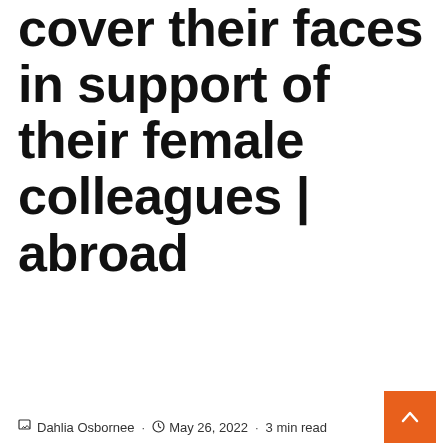cover their faces in support of their female colleagues | abroad
Dahlia Osbornee · May 26, 2022 · 3 min read